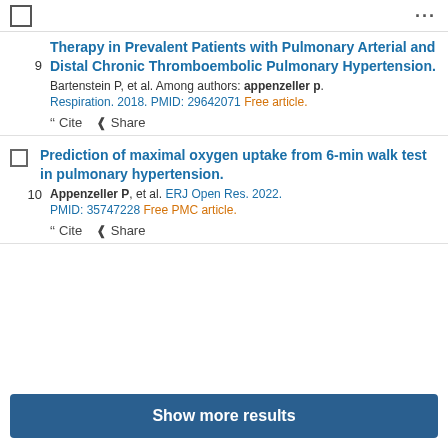9. Therapy in Prevalent Patients with Pulmonary Arterial and Distal Chronic Thromboembolic Pulmonary Hypertension. Bartenstein P, et al. Among authors: appenzeller p. Respiration. 2018. PMID: 29642071 Free article.
10. Prediction of maximal oxygen uptake from 6-min walk test in pulmonary hypertension. Appenzeller P, et al. ERJ Open Res. 2022. PMID: 35747228 Free PMC article.
Show more results